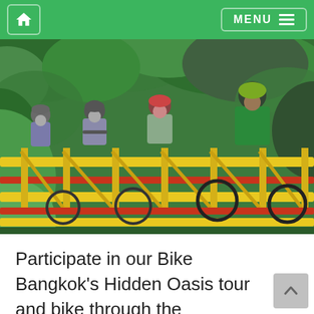Home | MENU
[Figure (photo): Group of cyclists wearing helmets riding bikes across a yellow and red metal bridge surrounded by lush green tropical vegetation in Bangkok.]
Participate in our Bike Bangkok's Hidden Oasis tour and bike through the countryside to see the most breathtaking views!